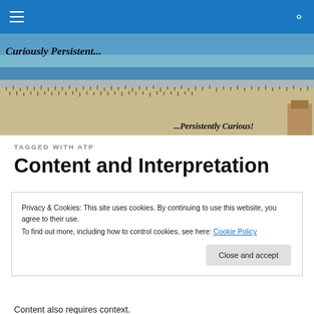[Figure (photo): Beach scene banner with crowds of people on a sandy beach. Text overlay reads 'Curiously Persistent...' on the left and '...Persistently Curious!' on the lower right.]
TAGGED WITH ATP
Content and Interpretation
Privacy & Cookies: This site uses cookies. By continuing to use this website, you agree to their use.
To find out more, including how to control cookies, see here: Cookie Policy
[Close and accept button]
Content also requires context.